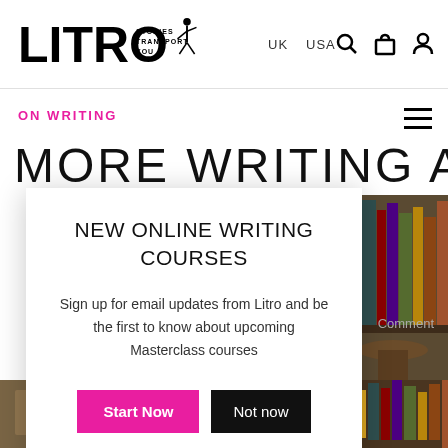[Figure (logo): Litro magazine logo with 'Stories Transport You' tagline and running figure]
UK   USA
ON WRITING
MORE WRITING ABOUT
NEW ONLINE WRITING COURSES
Sign up for email updates from Litro and be the first to know about upcoming Masterclass courses
Start Now
Not now
Comment
[Figure (photo): Books on a shelf, sepia toned photo at bottom right]
[Figure (photo): Bottom strip photos showing objects]